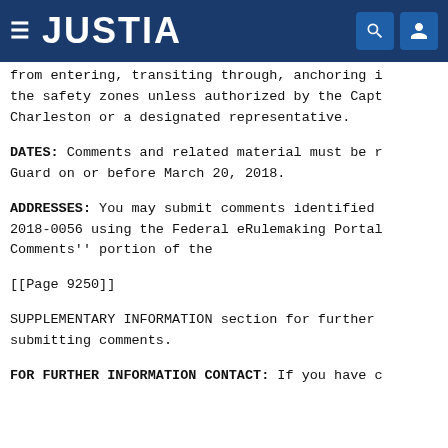JUSTIA
from entering, transiting through, anchoring i the safety zones unless authorized by the Capt Charleston or a designated representative.
DATES: Comments and related material must be r Guard on or before March 20, 2018.
ADDRESSES: You may submit comments identified 2018-0056 using the Federal eRulemaking Portal Comments'' portion of the
[[Page 9250]]
SUPPLEMENTARY INFORMATION section for further submitting comments.
FOR FURTHER INFORMATION CONTACT: If you have c